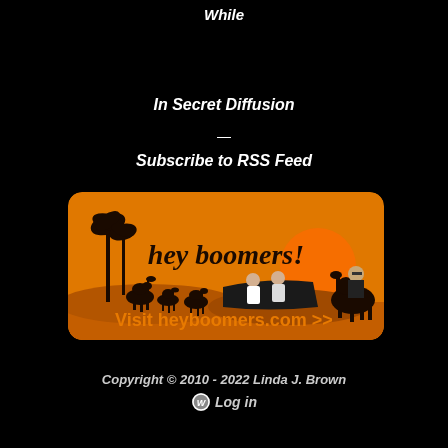While
In Secret Diffusion
—
Subscribe to RSS Feed
[Figure (illustration): Hey Boomers banner image with orange background, camel silhouettes, palm trees, two people on a boat, and a person riding a camel. Text reads 'hey boomers!']
Visit heyboomers.com >>
Copyright © 2010 - 2022 Linda J. Brown
Log in